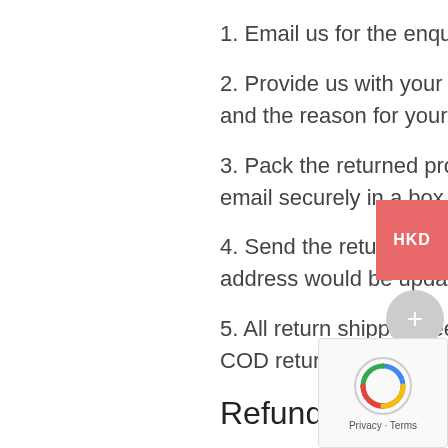1. Email us for the enquiry type.
2. Provide us with your Order Number. Indicate returned products and the reason for your return in the input box area.
3. Pack the returned products along with our acknowledgement email securely in a box that we can expedite your request.
4. Send the returning items by mail to: BAOYAU HK. An mailing address would be updated by email then.
5. All return shipping fee must be prepaid. We cannot accept COD returns.
Refund policy
Please note that before providing a refund for any returned product we will first verify